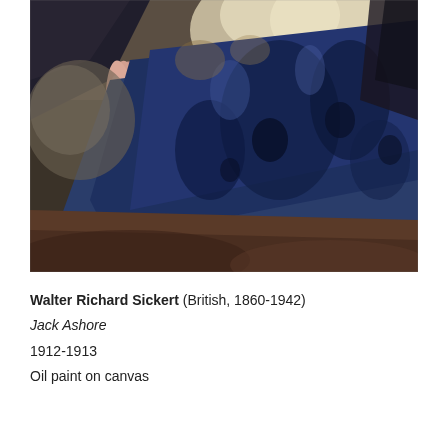[Figure (photo): A painting detail showing a reclining figure with bare legs visible on the left, draped in a dark blue fabric/cloth, with a textured background of dark and muted earthy tones. The style is Post-Impressionist with loose, expressive brushwork.]
Walter Richard Sickert (British, 1860-1942)
Jack Ashore
1912-1913
Oil paint on canvas